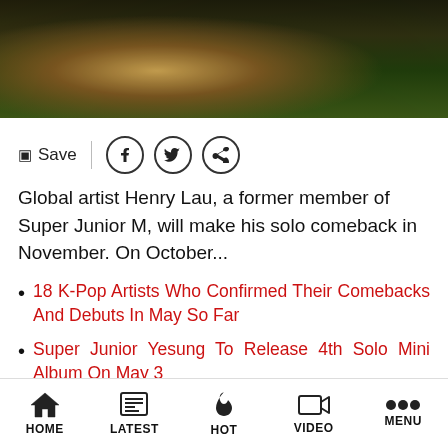[Figure (photo): Dark outdoor photo, partial view of person in dark clothing against foliage/tree background]
Save | [facebook icon] [twitter icon] [link icon]
Global artist Henry Lau, a former member of Super Junior M, will make his solo comeback in November. On October...
18 K-Pop Artists Who Confirmed Their Comebacks And Debuts In May So Far
Super Junior Yesung To Release 4th Solo Mini Album On May 3
NCT DREAM Reveals New Details On Next
HOME | LATEST | HOT | VIDEO | MENU